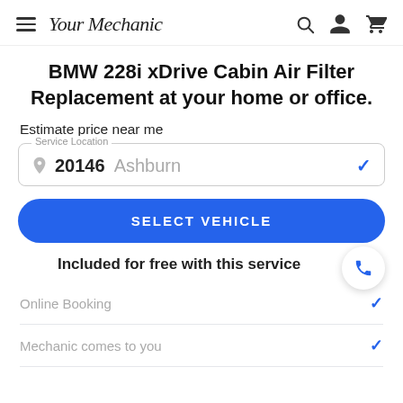YourMechanic
BMW 228i xDrive Cabin Air Filter Replacement at your home or office.
Estimate price near me
Service Location — 20146 Ashburn
SELECT VEHICLE
Included for free with this service
Online Booking
Mechanic comes to you